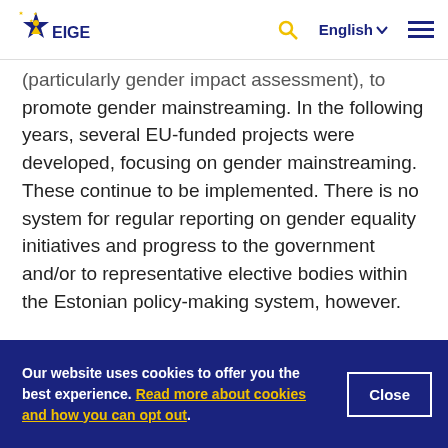EIGE — English
(particularly gender impact assessment), to promote gender mainstreaming. In the following years, several EU-funded projects were developed, focusing on gender mainstreaming. These continue to be implemented. There is no system for regular reporting on gender equality initiatives and progress to the government and/or to representative elective bodies within the Estonian policy-making system, however.
Our website uses cookies to offer you the best experience. Read more about cookies and how you can opt out.